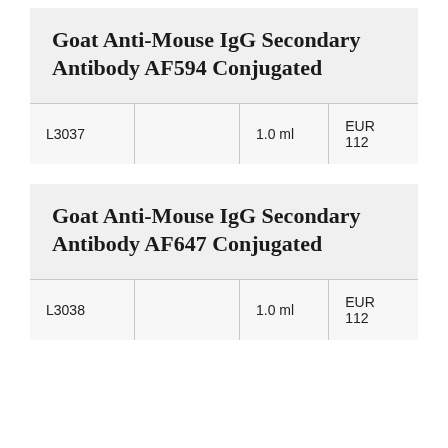Goat Anti-Mouse IgG Secondary Antibody AF594 Conjugated
| Catalog |  | Volume | Price |
| --- | --- | --- | --- |
| L3037 |  | 1.0 ml | EUR 112 |
Goat Anti-Mouse IgG Secondary Antibody AF647 Conjugated
| Catalog |  | Volume | Price |
| --- | --- | --- | --- |
| L3038 |  | 1.0 ml | EUR 112 |